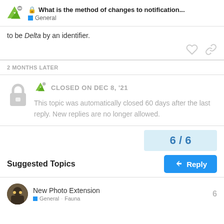What is the method of changes to notification... | General
to be Delta by an identifier.
2 MONTHS LATER
CLOSED ON DEC 8, '21
This topic was automatically closed 60 days after the last reply. New replies are no longer allowed.
6 / 6
Reply
Suggested Topics
New Photo Extension
6